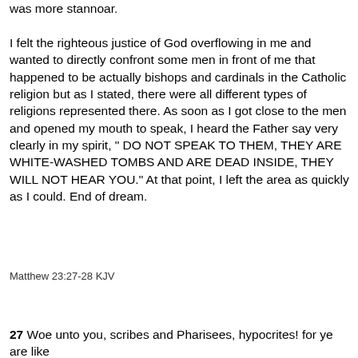was more stannoar. I felt the righteous justice of God overflowing in me and wanted to directly confront some men in front of me that happened to be actually bishops and cardinals in the Catholic religion but as I stated, there were all different types of religions represented there. As soon as I got close to the men and opened my mouth to speak, I heard the Father say very clearly in my spirit, " DO NOT SPEAK TO THEM, THEY ARE WHITE-WASHED TOMBS AND ARE DEAD INSIDE, THEY WILL NOT HEAR YOU." At that point, I left the area as quickly as I could. End of dream.
Matthew 23:27-28 KJV
27 Woe unto you, scribes and Pharisees, hypocrites! for ye are like